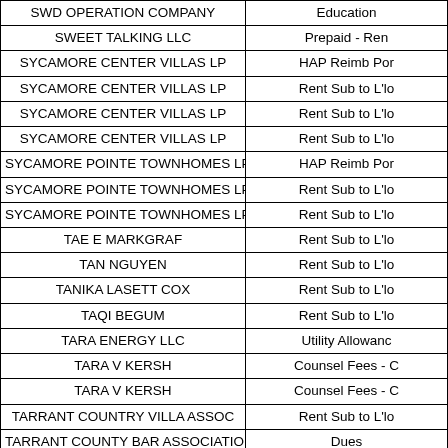| Payee | Type |
| --- | --- |
| SWD OPERATION COMPANY | Education |
| SWEET TALKING LLC | Prepaid - Ren |
| SYCAMORE CENTER VILLAS LP | HAP Reimb Por |
| SYCAMORE CENTER VILLAS LP | Rent Sub to L'lo |
| SYCAMORE CENTER VILLAS LP | Rent Sub to L'lo |
| SYCAMORE CENTER VILLAS LP | Rent Sub to L'lo |
| SYCAMORE POINTE TOWNHOMES LP | HAP Reimb Por |
| SYCAMORE POINTE TOWNHOMES LP | Rent Sub to L'lo |
| SYCAMORE POINTE TOWNHOMES LP | Rent Sub to L'lo |
| TAE E MARKGRAF | Rent Sub to L'lo |
| TAN NGUYEN | Rent Sub to L'lo |
| TANIKA LASETT COX | Rent Sub to L'lo |
| TAQI BEGUM | Rent Sub to L'lo |
| TARA ENERGY LLC | Utility Allowanc |
| TARA V KERSH | Counsel Fees - C |
| TARA V KERSH | Counsel Fees - C |
| TARRANT COUNTRY VILLA ASSOC | Rent Sub to L'lo |
| TARRANT COUNTY BAR ASSOCIATION | Dues |
| TARRANT COUNTY CLERK | Court Costs |
| TARRANT COUNTY CLERK | Court Costs |
| TARRANT COUNTY CLERK | Court Costs |
| TARRANT COUNTY CLERK | Court Costs |
| TARRANT COUNTY CLERK | Court Costs |
| TARRANT COUNTY CLERK | Court Costs |